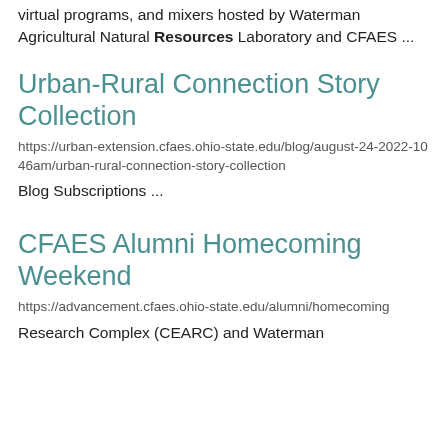virtual programs, and mixers hosted by Waterman Agricultural Natural Resources Laboratory and CFAES ...
Urban-Rural Connection Story Collection
https://urban-extension.cfaes.ohio-state.edu/blog/august-24-2022-1046am/urban-rural-connection-story-collection
Blog Subscriptions ...
CFAES Alumni Homecoming Weekend
https://advancement.cfaes.ohio-state.edu/alumni/homecoming
Research Complex (CEARC) and Waterman